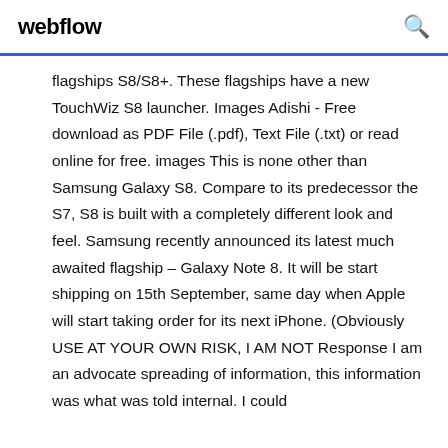webflow
flagships S8/S8+. These flagships have a new TouchWiz S8 launcher. Images Adishi - Free download as PDF File (.pdf), Text File (.txt) or read online for free. images This is none other than Samsung Galaxy S8. Compare to its predecessor the S7, S8 is built with a completely different look and feel. Samsung recently announced its latest much awaited flagship – Galaxy Note 8. It will be start shipping on 15th September, same day when Apple will start taking order for its next iPhone. (Obviously USE AT YOUR OWN RISK, I AM NOT Response I am an advocate spreading of information, this information was what was told internal. I could